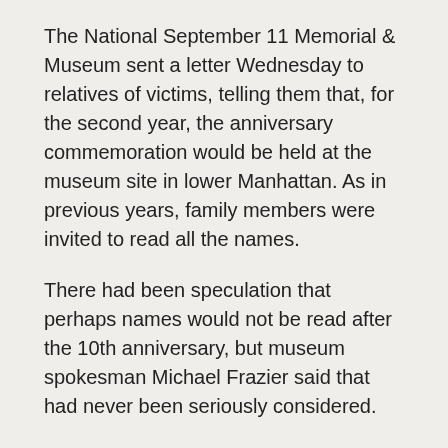The National September 11 Memorial & Museum sent a letter Wednesday to relatives of victims, telling them that, for the second year, the anniversary commemoration would be held at the museum site in lower Manhattan. As in previous years, family members were invited to read all the names.
There had been speculation that perhaps names would not be read after the 10th anniversary, but museum spokesman Michael Frazier said that had never been seriously considered.
“I don’t know where that conjecture came from,” he said.
The change in this year’s commemoration would be that no others, including politicians, would speak “and that includes Mayor [Michael] Bloomberg,” Frazier said.
There had been some criticism that having elected